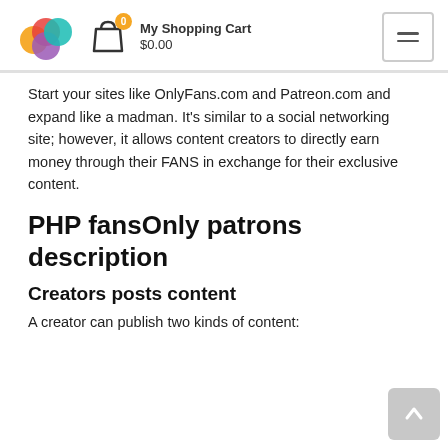[Figure (logo): Colorful logo with overlapping circles in purple, teal, yellow, and red forming a flower-like shape]
My Shopping Cart $0.00
Start your sites like OnlyFans.com and Patreon.com and expand like a madman. It's similar to a social networking site; however, it allows content creators to directly earn money through their FANS in exchange for their exclusive content.
PHP fansOnly patrons description
Creators posts content
A creator can publish two kinds of content: